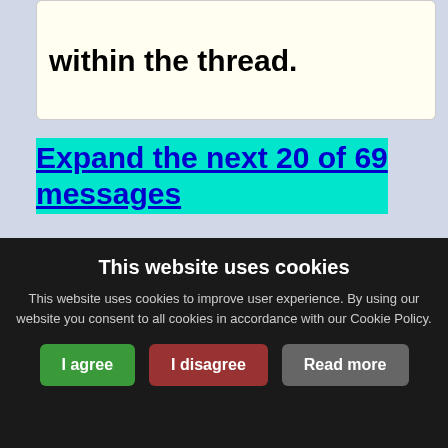within the thread.
Expand the next 20 of 69 messages
Avoid the medical man!!! #48688 14 years ago 11,099
oh don't worry, i'll be browsing the rest of your ... tota383 14 years ago 10,578
Edited #481277 14...
This website uses cookies
This website uses cookies to improve user experience. By using our website you consent to all cookies in accordance with our Cookie Policy.
I agree
I disagree
Read more